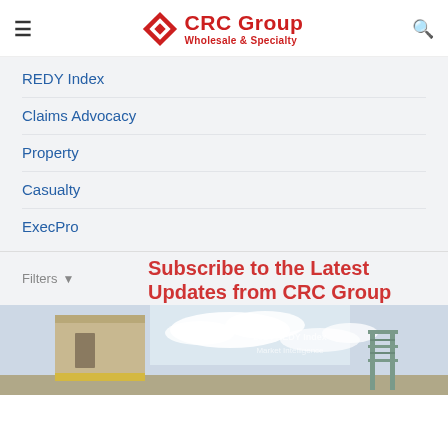CRC Group Wholesale & Specialty
REDY Index
Claims Advocacy
Property
Casualty
ExecPro
Filters
Subscribe to the Latest Updates from CRC Group
[Figure (photo): Bottom strip showing a building/storage container on left, sky with clouds in center, and metal railing structure on right.]